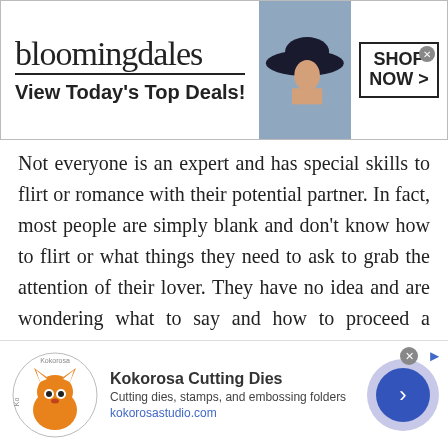[Figure (screenshot): Bloomingdale's advertisement banner with logo, 'View Today's Top Deals!' tagline, woman in wide-brim hat image, and 'SHOP NOW >' button]
Not everyone is an expert and has special skills to flirt or romance with their potential partner. In fact, most people are simply blank and don’t know how to flirt or what things they need to ask to grab the attention of their lover. They have no idea and are wondering what to say and how to proceed a conversation. Whenever people start a conversation they feel awkward and never proceed to share their feelings. Well, is there any way to learn how to use Yemeni Flirt Chat rooms to flirt with girls or boys? Of course, there is a way. Flirting is an art that can
[Figure (screenshot): Kokorosa Cutting Dies advertisement with fox logo, title 'Kokorosa Cutting Dies', description 'Cutting dies, stamps, and embossing folders', URL 'kokorosastudio.com', and a circular blue arrow button]